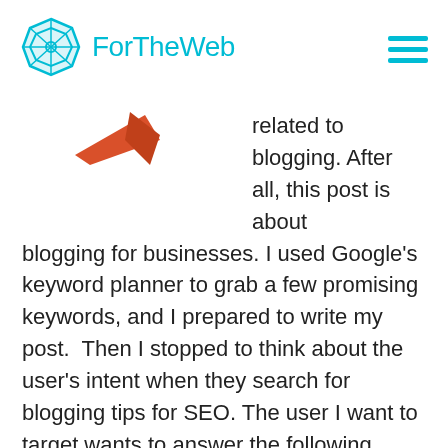ForTheWeb
[Figure (logo): ForTheWeb logo with geometric hexagonal icon in blue/teal and text 'ForTheWeb' in teal, plus hamburger menu icon on the right]
related to blogging. After all, this post is about blogging for businesses. I used Google's keyword planner to grab a few promising keywords, and I prepared to write my post.  Then I stopped to think about the user's intent when they search for blogging tips for SEO. The user I want to target wants to answer the following questions: How to Write for SEO, How to Write Engaging Content for SEO, and SEO in Content Writing. I did a little searching, and discovered that most blogging search queries were related to personal blogs, not blogging for business. Thinking of the user's intent helped me narrow my focus to include terms related